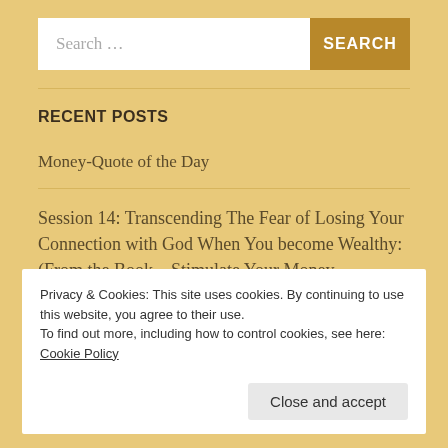Search ...
RECENT POSTS
Money-Quote of the Day
Session 14: Transcending The Fear of Losing Your Connection with God When You become Wealthy: (From the Book – Stimulate Your Money Magnetism)
Privacy & Cookies: This site uses cookies. By continuing to use this website, you agree to their use.
To find out more, including how to control cookies, see here: Cookie Policy
Close and accept